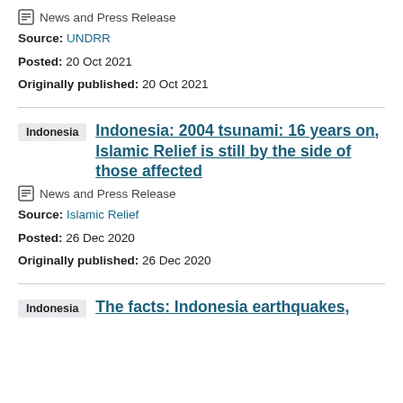News and Press Release
Source: UNDRR
Posted: 20 Oct 2021
Originally published: 20 Oct 2021
Indonesia: 2004 tsunami: 16 years on, Islamic Relief is still by the side of those affected
News and Press Release
Source: Islamic Relief
Posted: 26 Dec 2020
Originally published: 26 Dec 2020
The facts: Indonesia earthquakes,